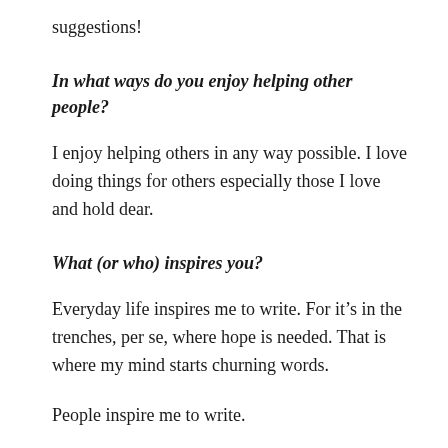suggestions!
In what ways do you enjoy helping other people?
I enjoy helping others in any way possible. I love doing things for others especially those I love and hold dear.
What (or who) inspires you?
Everyday life inspires me to write. For it’s in the trenches, per se, where hope is needed. That is where my mind starts churning words.
People inspire me to write.